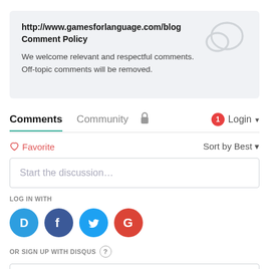http://www.gamesforlanguage.com/blog Comment Policy
We welcome relevant and respectful comments. Off-topic comments will be removed.
Comments  Community  [lock]  [1]  Login ▾
♡ Favorite   Sort by Best ▾
Start the discussion…
LOG IN WITH
[Figure (logo): Social login icons: Disqus (blue D), Facebook (dark blue f), Twitter (light blue bird), Google (red G)]
OR SIGN UP WITH DISQUS ?
Name